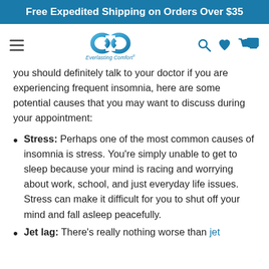Free Expedited Shipping on Orders Over $35
[Figure (logo): Everlasting Comfort logo with infinity symbol and navigation icons (hamburger menu, search, heart, cart)]
you should definitely talk to your doctor if you are experiencing frequent insomnia, here are some potential causes that you may want to discuss during your appointment:
Stress: Perhaps one of the most common causes of insomnia is stress. You're simply unable to get to sleep because your mind is racing and worrying about work, school, and just everyday life issues. Stress can make it difficult for you to shut off your mind and fall asleep peacefully.
Jet lag: There's really nothing worse than jet